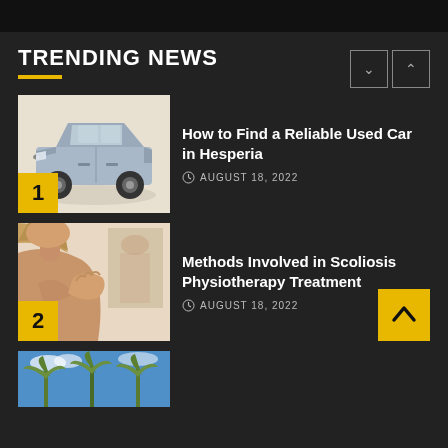TRENDING NEWS
[Figure (photo): Silver/grey Hyundai sedan car on white background, numbered 1]
How to Find a Reliable Used Car in Hesperia
AUGUST 18, 2022
[Figure (photo): Person receiving back/shoulder physiotherapy treatment, numbered 2]
Methods Involved in Scoliosis Physiotherapy Treatment
AUGUST 18, 2022
[Figure (photo): Partial photo of palm trees against blue sky, article number 3]